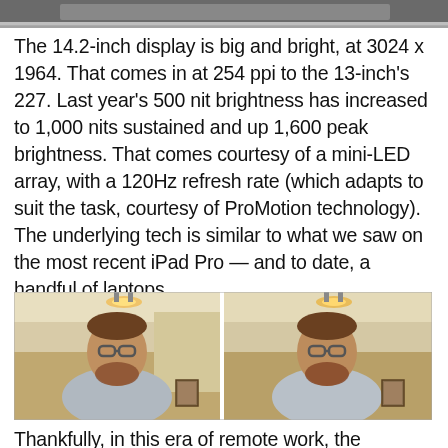[Figure (photo): Top portion of a photo showing a laptop or desk scene, cropped at the top of the page]
The 14.2-inch display is big and bright, at 3024 x 1964. That comes in at 254 ppi to the 13-inch’s 227. Last year’s 500 nit brightness has increased to 1,000 nits sustained and up 1,600 peak brightness. That comes courtesy of a mini-LED array, with a 120Hz refresh rate (which adapts to suit the task, courtesy of ProMotion technology). The underlying tech is similar to what we saw on the most recent iPad Pro — and to date, a handful of laptops.
[Figure (photo): Side-by-side comparison photos of a man with a beard and glasses, sitting indoors with a ceiling light visible above his head. Left and right photos appear to be comparison shots of camera quality.]
Thankfully, in this era of remote work, the